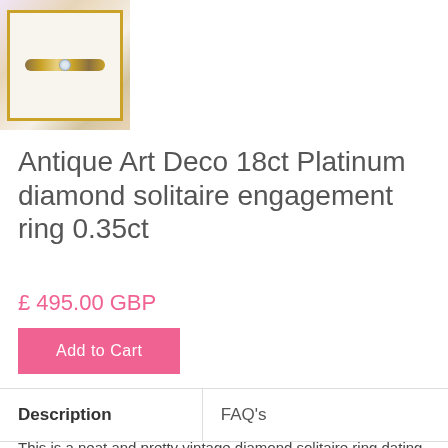[Figure (photo): Product photo of an antique ring in a gold-bordered box displayed against a floral background]
Antique Art Deco 18ct Platinum diamond solitaire engagement ring 0.35ct
£ 495.00 GBP
Add to Cart
| Description | FAQ's |
| --- | --- |
This is a neat and pretty vintage diamond solitaire ring dating